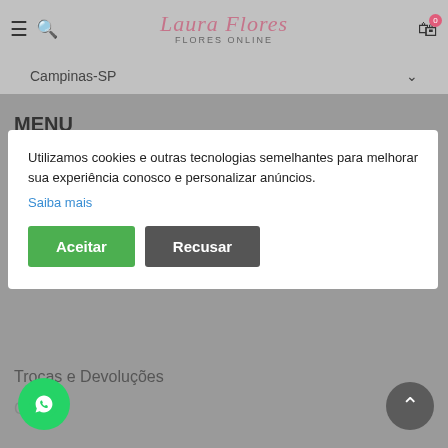Laura Flores — Flores Online
Campinas-SP
MENU
Home
Loja
Contato
LINKS
Utilizamos cookies e outras tecnologias semelhantes para melhorar sua experiência conosco e personalizar anúncios.
Saiba mais
Aceitar
Recusar
Política de Privacidade
Trocas e Devoluções
C...